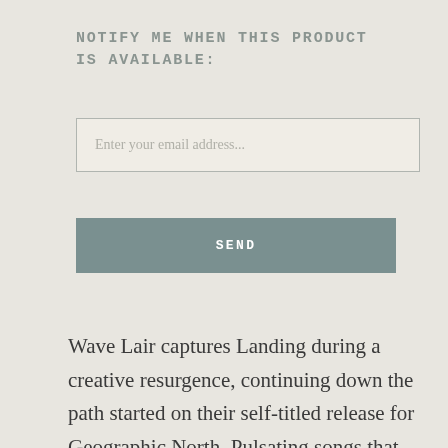NOTIFY ME WHEN THIS PRODUCT IS AVAILABLE:
[Figure (screenshot): Email input field with placeholder text 'Enter your email address...']
[Figure (screenshot): SEND button in muted teal/grey color]
Wave Lair captures Landing during a creative resurgence, continuing down the path started on their self-titled release for Geographic North. Pulsating songs that kick around the band's signature mix of hazy melodies, dreamy guitars and vapour-like synths, all augmented by the prominent use of drum machines and